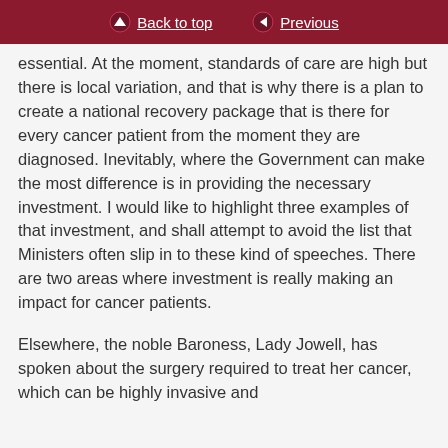Back to top   Previous
essential. At the moment, standards of care are high but there is local variation, and that is why there is a plan to create a national recovery package that is there for every cancer patient from the moment they are diagnosed. Inevitably, where the Government can make the most difference is in providing the necessary investment. I would like to highlight three examples of that investment, and shall attempt to avoid the list that Ministers often slip in to these kind of speeches. There are two areas where investment is really making an impact for cancer patients.
Elsewhere, the noble Baroness, Lady Jowell, has spoken about the surgery required to treat her cancer, which can be highly invasive and